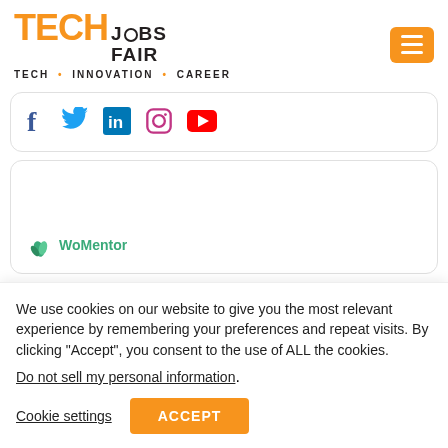[Figure (logo): Tech Jobs Fair logo with orange TECH text and black JOBS FAIR text, subtitle TECH INNOVATION CAREER]
[Figure (infographic): Social media icons: Facebook, Twitter, LinkedIn, Instagram, YouTube in a rounded card]
[Figure (logo): WoMentor logo with green leaf icon and teal WoMentor text in a card]
We use cookies on our website to give you the most relevant experience by remembering your preferences and repeat visits. By clicking “Accept”, you consent to the use of ALL the cookies.
Do not sell my personal information.
Cookie settings
ACCEPT